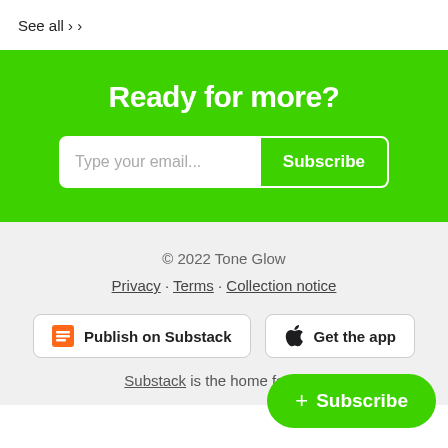See all ›
Ready for more?
Type your email... Subscribe
© 2022 Tone Glow
Privacy · Terms · Collection notice
Publish on Substack
Get the app
Substack is the home for grea...
+ Subscribe